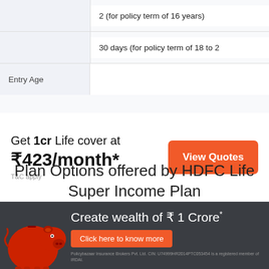|  |  |
| --- | --- |
|  | 2 (for policy term of 16 years) |
|  | 30 days (for policy term of 18 to 2 |
| Entry Age |  |
Get 1cr Life cover at ₹423/month*
T&C apply
View Quotes
View More +
Plan Options offered by HDFC Life Super Income Plan
| OPTIONS | PREMIUM PAYMENT TERM (YEA |
| --- | --- |
[Figure (photo): Red piggy bank on dark background with advertisement text: Create wealth of ₹ 1 Crore* and Click here to know more button]
Create wealth of ₹ 1 Crore*
Click here to know more